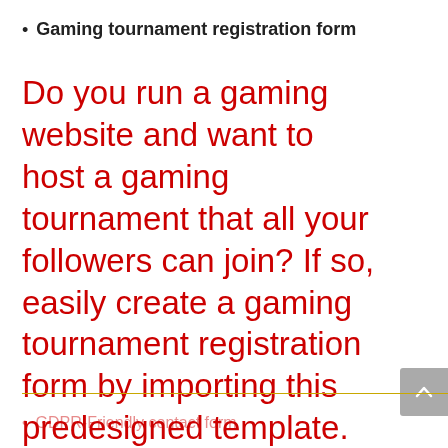Gaming tournament registration form
Do you run a gaming website and want to host a gaming tournament that all your followers can join? If so, easily create a gaming tournament registration form by importing this predesigned template. Kali Forms makes it easy to plan and host gaming tournaments that people love.
GDPR-Friendly contact form